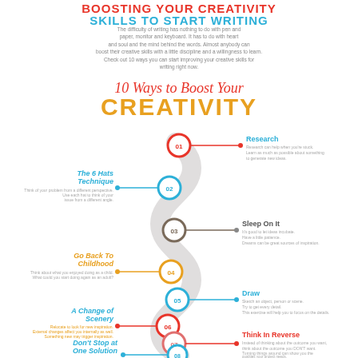BOOSTING YOUR CREATIVITY SKILLS TO START WRITING
The difficulty of writing has nothing to do with pen and paper, monitor and keyboard. It has to do with heart and soul and the mind behind the words. Almost anybody can boost their creative skills with a little discipline and a willingness to learn. Check out 10 ways you can start improving your creative skills for writing right now.
10 Ways to Boost Your CREATIVITY
[Figure (infographic): A winding path/snake infographic showing 8 numbered circles (01-08) along a curved ribbon, with alternating left and right labels: 01 Research, 02 The 6 Hats Technique, 03 Sleep On It, 04 Go Back To Childhood, 05 Draw, 06 A Change of Scenery, 07 Think In Reverse, 08 Don't Stop at One Solution]